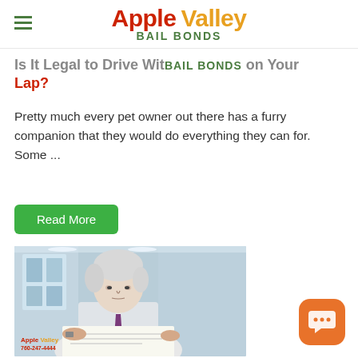Apple Valley BAIL BONDS
Is It Legal to Drive With A Pet on Your Lap?
Pretty much every pet owner out there has a furry companion that they would do everything they can for. Some ...
Read More
[Figure (photo): Middle-aged man with white hair wearing a white shirt and purple tie, reading a document/newspaper. Apple Valley Bail Bonds watermark with phone number 760-247-4444 visible in lower left of image.]